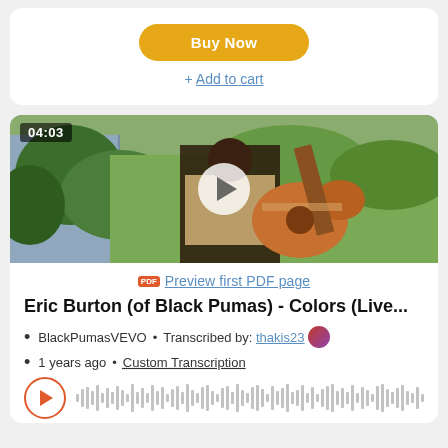Buy Now
+ Add to cart
[Figure (screenshot): Video thumbnail showing a man playing acoustic guitar outdoors, with a play button overlay and timestamp 04:03 in the top left corner.]
Preview first PDF page
Eric Burton (of Black Pumas) - Colors (Live...
BlackPumasVEVO  •  Transcribed by: thakis23
1 years ago  •  Custom Transcription
[Figure (other): Audio waveform player with orange play button on the left and waveform visualization.]